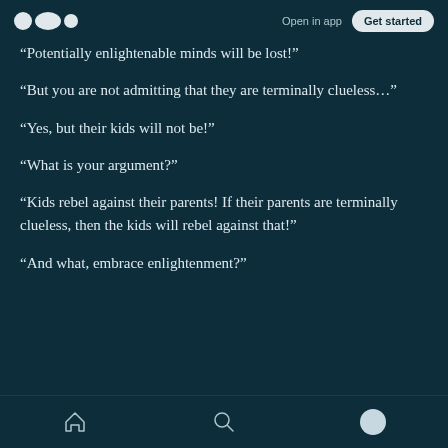Open in app  Get started
“Potentially enlightenable minds will be lost!”
“But you are not admitting that they are terminally clueless…”
“Yes, but their kids will not be!”
“What is your argument?”
“Kids rebel against their parents! If their parents are terminally clueless, then the kids will rebel against that!”
“And what, embrace enlightenment?”
Home  Search  Profile